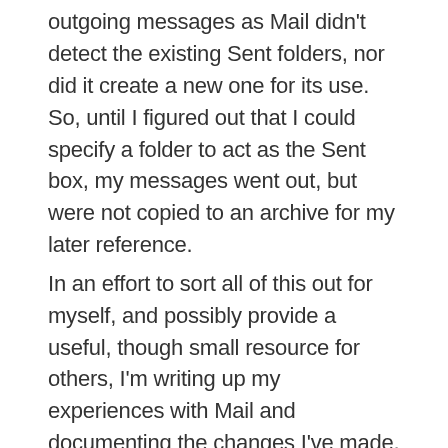outgoing messages as Mail didn't detect the existing Sent folders, nor did it create a new one for its use. So, until I figured out that I could specify a folder to act as the Sent box, my messages went out, but were not copied to an archive for my later reference. In an effort to sort all of this out for myself, and possibly provide a useful, though small resource for others, I'm writing up my experiences with Mail and documenting the changes I've made, the plugins I've installed or uninstalled and my general thoughts on the matter. There isn't a lot of detail yet, but this entry will expand as time allows.